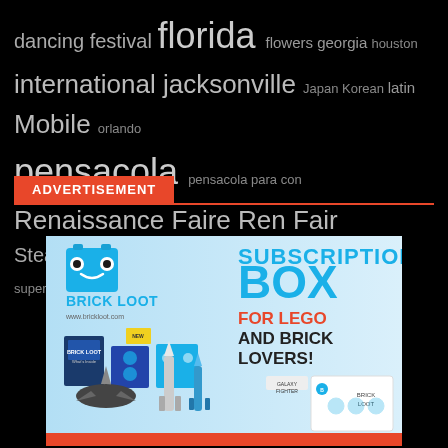dancing festival florida flowers georgia houston international jacksonville Japan Korean latin Mobile orlando pensacola pensacola para con Renaissance Faire Ren Fair Steampunk superheroes Tampa Texas travel
ADVERTISEMENT
[Figure (photo): Brick Loot subscription box advertisement for LEGO and brick lovers, showing various LEGO sets, boxes, and models with Brick Loot branding and text reading SUBSCRIPTION BOX FOR LEGO AND BRICK LOVERS! www.brickloot.com]